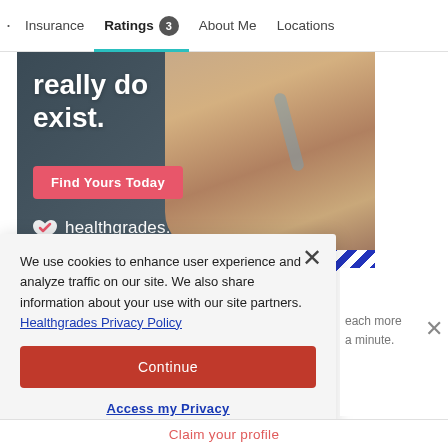· Insurance  Ratings 3  About Me  Locations
[Figure (photo): Healthgrades advertisement showing a doctor with stethoscope, text 'really do exist.', a pink 'Find Yours Today' button, and the Healthgrades logo with blue diagonal stripe at bottom]
We use cookies to enhance user experience and analyze traffic on our site. We also share information about your use with our site partners. Healthgrades Privacy Policy
Continue
Access my Privacy Preferences
Claim your profile